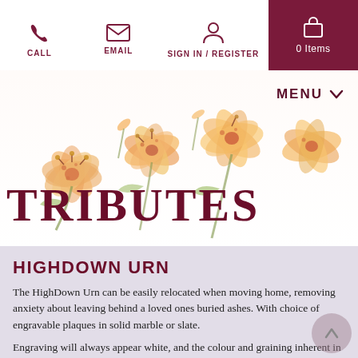CALL | EMAIL | SIGN IN / REGISTER | 0 Items
[Figure (illustration): Watercolour lily flowers in pink and orange arranged across the banner area]
TRIBUTES
HIGHDOWN URN
The HighDown Urn can be easily relocated when moving home, removing anxiety about leaving behind a loved ones buried ashes. With choice of engravable plaques in solid marble or slate.
Engraving will always appear white, and the colour and graining inherent in the natural stone of the